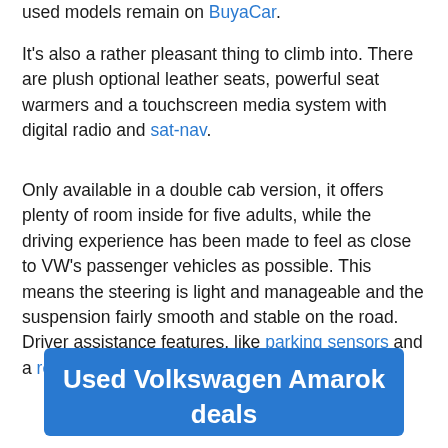used models remain on BuyaCar.
It's also a rather pleasant thing to climb into. There are plush optional leather seats, powerful seat warmers and a touchscreen media system with digital radio and sat-nav.
Only available in a double cab version, it offers plenty of room inside for five adults, while the driving experience has been made to feel as close to VW's passenger vehicles as possible. This means the steering is light and manageable and the suspension fairly smooth and stable on the road. Driver assistance features, like parking sensors and a reversing camera, are available too.
[Figure (other): Blue call-to-action button with white text reading 'Used Volkswagen Amarok deals']